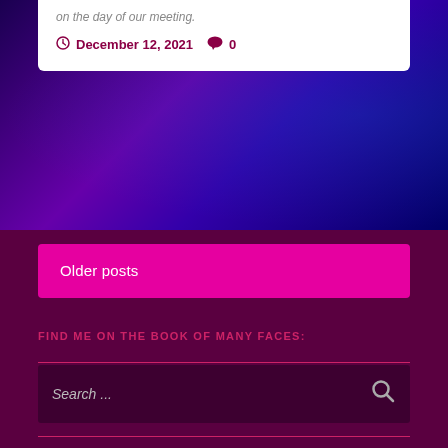on the day of our meeting.
December 12, 2021   0
Older posts
FIND ME ON THE BOOK OF MANY FACES:
Search ...